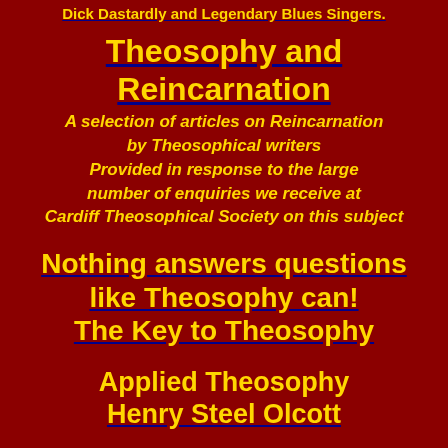Dick Dastardly and Legendary Blues Singers.
Theosophy and Reincarnation
A selection of articles on Reincarnation by Theosophical writers Provided in response to the large number of enquiries we receive at Cardiff Theosophical Society on this subject
Nothing answers questions like Theosophy can! The Key to Theosophy
Applied Theosophy Henry Steel Olcott
Blavatsky Calling